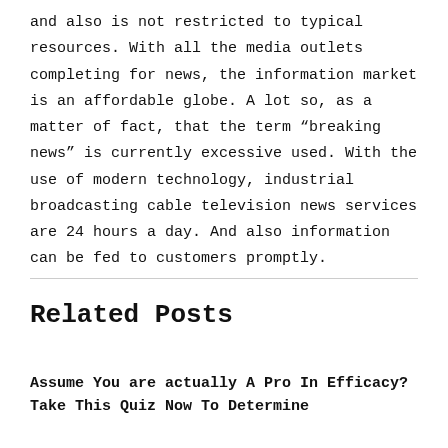and also is not restricted to typical resources. With all the media outlets completing for news, the information market is an affordable globe. A lot so, as a matter of fact, that the term “breaking news” is currently excessive used. With the use of modern technology, industrial broadcasting cable television news services are 24 hours a day. And also information can be fed to customers promptly.
Related Posts
Assume You are actually A Pro In Efficacy? Take This Quiz Now To Determine